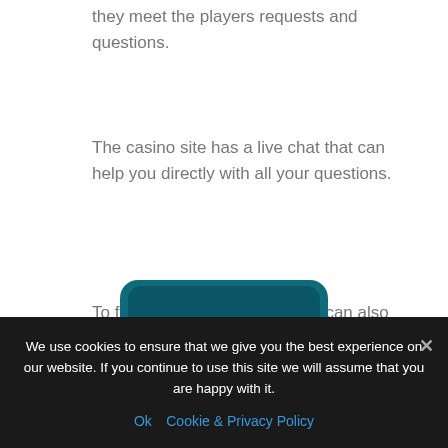they meet the players requests and questions.
The casino site has a live chat that can help you directly with all your questions.
To file a complaint, the players can also contact the casino directly – Live chat: Yes
[Figure (photo): A teal/dark-teal rounded rectangle device (tablet or similar) with a black screen area, partially visible at the bottom of the content area]
We use cookies to ensure that we give you the best experience on our website. If you continue to use this site we will assume that you are happy with it.
Ok   Cookie & Privacy Policy